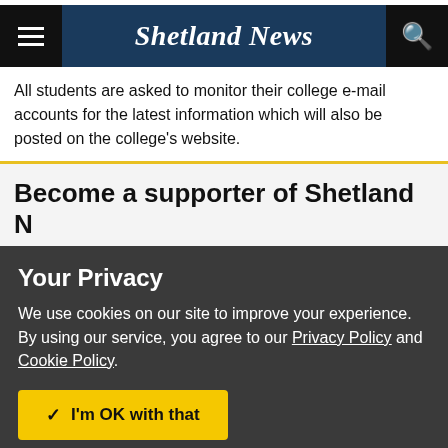Shetland News
All students are asked to monitor their college e-mail accounts for the latest information which will also be posted on the college's website.
Become a supporter of Shetland N…
Your Privacy
We use cookies on our site to improve your experience.
By using our service, you agree to our Privacy Policy and Cookie Policy.
✓  I'm OK with that